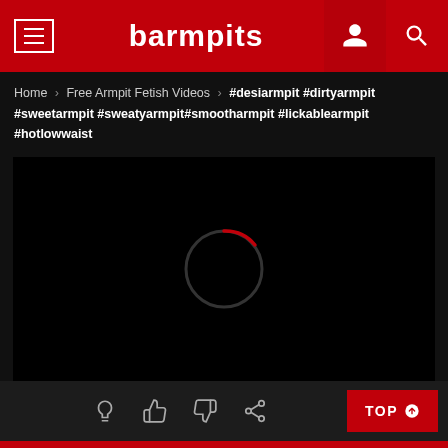barmpits
Home > Free Armpit Fetish Videos > #desiarmpit #dirtyarmpit #sweetarmpit #sweatyarmpit#smootharmpit #lickablearmpit #hotlowwaist
[Figure (screenshot): Video player area showing a loading spinner (circle with red arc) on a black background]
[Figure (screenshot): Action bar with lightbulb, thumbs up, thumbs down, share icons and a red TOP button]